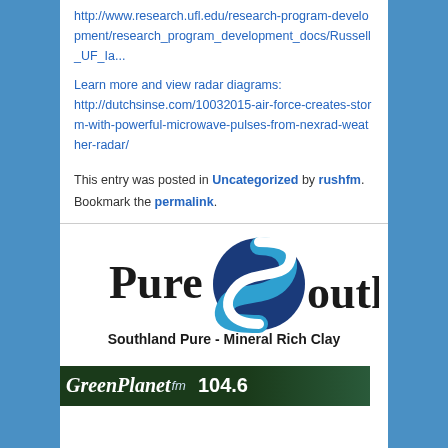http://www.research.ufl.edu/research-program-development/research_program_development_docs/Russell_UF_Ia...
Learn more and view radar diagrams: http://dutchsinse.com/10032015-air-force-creates-storm-with-powerful-microwave-pulses-from-nexrad-weather-radar/
This entry was posted in Uncategorized by rushfm. Bookmark the permalink.
[Figure (logo): Pure South logo with blue S swirl icon and tagline 'Southland Pure - Mineral Rich Clay']
[Figure (logo): GreenPlanet fm 104.6 banner with dark green background]